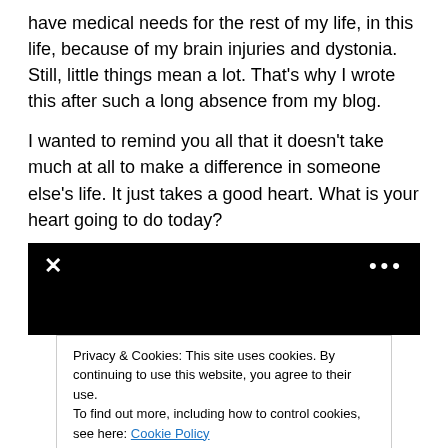have medical needs for the rest of my life, in this life, because of my brain injuries and dystonia. Still, little things mean a lot. That's why I wrote this after such a long absence from my blog.
I wanted to remind you all that it doesn't take much at all to make a difference in someone else's life. It just takes a good heart. What is your heart going to do today?
[Figure (screenshot): Black video player area with a white X close button on the left and three white dots menu on the right.]
Privacy & Cookies: This site uses cookies. By continuing to use this website, you agree to their use.
To find out more, including how to control cookies, see here: Cookie Policy
Close and accept
Advertisements